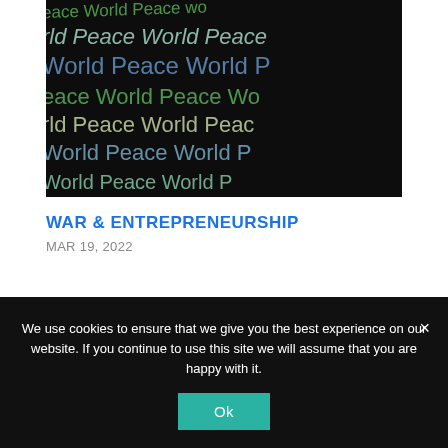[Figure (photo): Close-up photo of a dark board or surface with 'World Peace' written repeatedly in various colors (green, blue, yellow/white chalk-like text), filling the entire image area.]
WAR & ENTREPRENEURSHIP
MAR 19, 2022
We use cookies to ensure that we give you the best experience on our website. If you continue to use this site we will assume that you are happy with it.